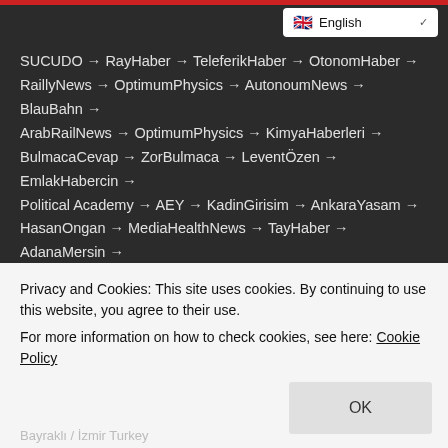English (language selector)
SUCUDO → RayHaber → TeleferikHaber → OtonomHaber → RaillyNews → OptimumPhysics → AutonoumNews → BlauBahn → ArabRailNews → OptimumPhysics → KimyaHaberleri → BulmacaCevap → ZorBulmaca → LeventÖzen → EmlakHabercin → Political Academy → AEY → KadinGirisim → AnkaraYasam → HasanOngan → MediaHealthNews → TayHaber → AdanaMersin → HatayNews → BlauAutonom → MerhabaIzmir → CaravanNews
WE SUPPORT
Trabzon → Cigli Auto Expertise → Kars Auto Expertise → Auto Appraisal → Turkey Implant → Haberingo → cigdemdedeogludesignpr.com → Dealership Companies → Plant
Privacy and Cookies: This site uses cookies. By continuing to use this website, you agree to their use.
For more information on how to check cookies, see here: Cookie Policy
Bayraklı / İzmir Turkey